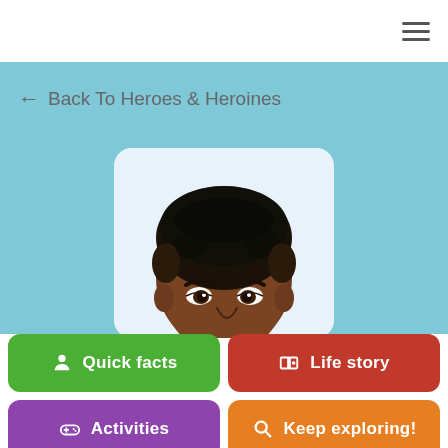[Figure (screenshot): Mobile app screenshot showing a navigation button with hamburger menu icon in the top right corner, a light blue hero background section with 'Back To Heroes & Heroines' navigation link, a portrait card showing an illustrated Black child's face (head/upper face only), and four colored navigation buttons: green 'Quick facts', red 'Life story', purple 'Activities', orange 'Keep exploring!']
Back To Heroes & Heroines
Quick facts
Life story
Activities
Keep exploring!